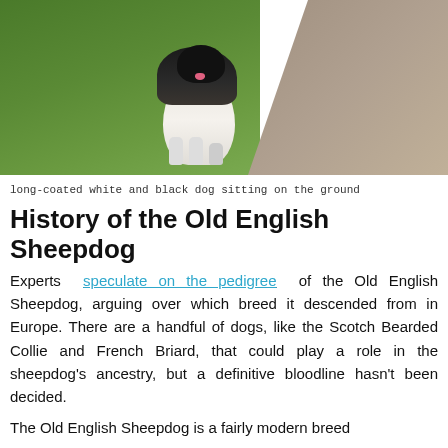[Figure (photo): A long-coated white and black dog (Old English Sheepdog) sitting on the ground near a path, surrounded by green grass]
long-coated white and black dog sitting on the ground
History of the Old English Sheepdog
Experts speculate on the pedigree of the Old English Sheepdog, arguing over which breed it descended from in Europe. There are a handful of dogs, like the Scotch Bearded Collie and French Briard, that could play a role in the sheepdog's ancestry, but a definitive bloodline hasn't been decided.
The Old English Sheepdog is a fairly modern breed